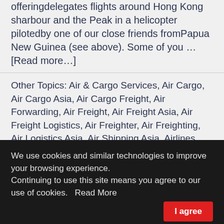offeringdelegates flights around Hong Kong sharbour and the Peak in a helicopter pilotedby one of our close friends fromPapua New Guinea (see above). Some of you … [Read more…]
Other Topics: Air & Cargo Services, Air Cargo, Air Cargo Asia, Air Cargo Freight, Air Forwarding, Air Freight, Air Freight Asia, Air Freight Logistics, Air Freighter, Air Freighting, Air Logistics Asia, Air Shipping Asia, Airlines Cargo, Airways Cargo, Asia Cargo News, Cargo Aviation
We use cookies and similar technologies to improve your browsing experience. Continuing to use this site means you agree to our use of cookies.   Read More